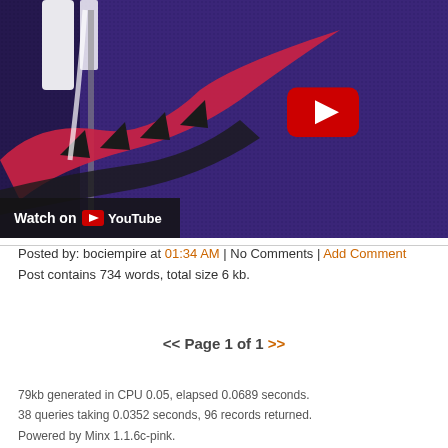[Figure (screenshot): YouTube video thumbnail showing a close-up of a purple Raptors basketball jersey with a raptor claw logo in red and black. A red YouTube play button is overlaid in the center-right area. A 'Watch on YouTube' bar is at the bottom left.]
Posted by: bociempire at 01:34 AM | No Comments | Add Comment
Post contains 734 words, total size 6 kb.
<< Page 1 of 1 >>
79kb generated in CPU 0.05, elapsed 0.0689 seconds.
38 queries taking 0.0352 seconds, 96 records returned.
Powered by Minx 1.1.6c-pink.